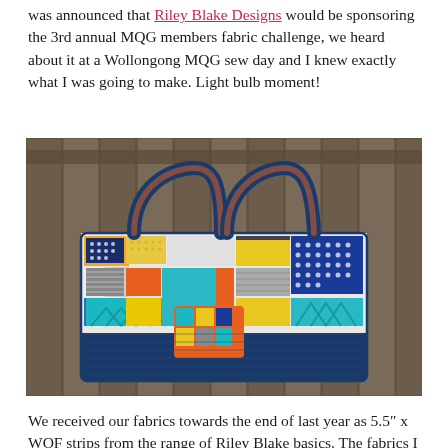was announced that Riley Blake Designs would be sponsoring the 3rd annual MQG members fabric challenge, we heard about it at a Wollongong MQG sew day and I knew exactly what I was going to make. Light bulb moment!
[Figure (photo): A colorful patchwork quilted tote bag hanging on a wooden fence. The bag features vibrant patchwork panels in blue, orange, yellow, teal, and gray fabrics with various patterns including dots, stripes, and chevrons. The bag has dark navy blue handles and a solid navy bottom panel, with a small patch pocket in the front center.]
We received our fabrics towards the end of last year as 5.5″ x WOF strips from the range of Riley Blake basics. The fabrics I